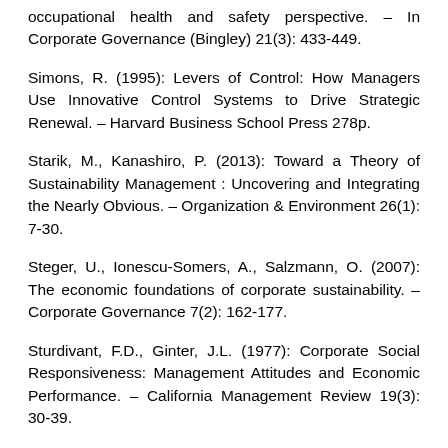occupational health and safety perspective. – In Corporate Governance (Bingley) 21(3): 433-449.
Simons, R. (1995): Levers of Control: How Managers Use Innovative Control Systems to Drive Strategic Renewal. – Harvard Business School Press 278p.
Starik, M., Kanashiro, P. (2013): Toward a Theory of Sustainability Management : Uncovering and Integrating the Nearly Obvious. – Organization & Environment 26(1): 7-30.
Steger, U., Ionescu-Somers, A., Salzmann, O. (2007): The economic foundations of corporate sustainability. – Corporate Governance 7(2): 162-177.
Sturdivant, F.D., Ginter, J.L. (1977): Corporate Social Responsiveness: Management Attitudes and Economic Performance. – California Management Review 19(3): 30-39.